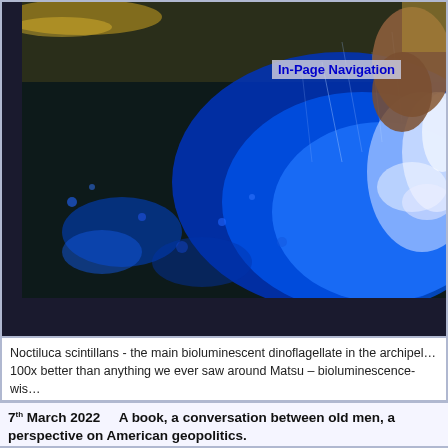[Figure (photo): Bioluminescent blue glowing water (Noctiluca scintillans) at night, with a person's arm or body visible on the right side. The water glows vivid blue against a dark background with water droplets and splashing visible.]
In-Page Navigation
Noctiluca scintillans - the main bioluminescent dinoflagellate in the archipel... 100x better than anything we ever saw around Matsu – bioluminescence-wis...
7th March 2022    A book, a conversation between old men, a perspective on American geopolitics.